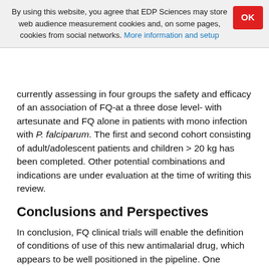By using this website, you agree that EDP Sciences may store web audience measurement cookies and, on some pages, cookies from social networks. More information and setup
currently assessing in four groups the safety and efficacy of an association of FQ-at a three dose level- with artesunate and FQ alone in patients with mono infection with P. falciparum. The first and second cohort consisting of adult/adolescent patients and children > 20 kg has been completed. Other potential combinations and indications are under evaluation at the time of writing this review.
Conclusions and Perspectives
In conclusion, FQ clinical trials will enable the definition of conditions of use of this new antimalarial drug, which appears to be well positioned in the pipeline. One remaining question is the cause of the potent activity of the drug, mainly